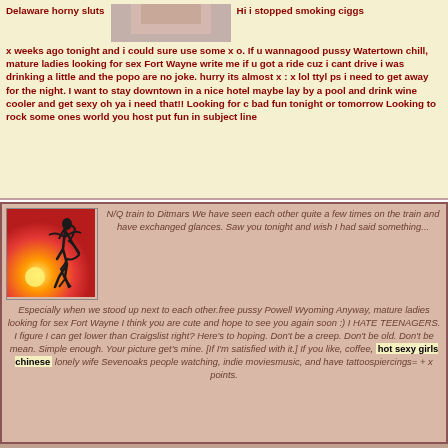[Figure (photo): Partial photo of a person, cropped showing torso/skin area, used as inline image in post]
Delaware horny sluts Hi i stopped smoking ciggs x weeks ago tonight and i could sure use some x o. If u wannagood pussy Watertown chill, mature ladies looking for sex Fort Wayne write me if u got a ride cuz i cant drive i was drinking a little and the popo are no joke. hurry its almost x : x lol ttyl ps i need to get away for the night. I want to stay downtown in a nice hotel maybe lay by a pool and drink wine cooler and get sexy oh ya i need that!! Looking for c bad fun tonight or tomorrow Looking to rock some ones world you host put fun in subject line
[Figure (photo): Silhouette of a person jumping/diving against a colorful orange and red sunset sky]
N/Q train to Ditmars We have seen each other quite a few times on the train and have exchanged glances. Saw you tonight and wish I had said something... Especially when we stood up next to each other.free pussy Powell Wyoming Anyway, mature ladies looking for sex Fort Wayne I think you are cute and hope to see you again soon :) I HATE TEENAGERS. I figure I can get lower than Craigslist right? Here's to hoping. Don't be a creep. Don't be old. Don't be mean. Simple enough. Your picture get's mine. [If I'm satisfied with it.] If you like, coffee, hot sexy girls chinese lonely wife Sevenoaks people watching, indie moviesmusic, and have tattoospiercings= + x points.